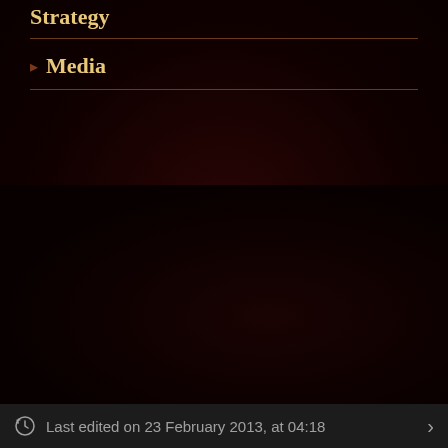Strategy
Media
Last edited on 23 February 2013, at 04:18